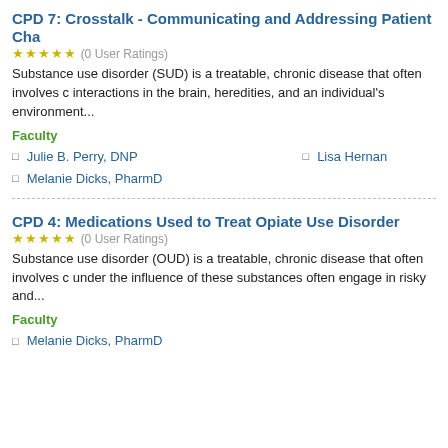CPD 7: Crosstalk - Communicating and Addressing Patient Cha...
★★★★★ (0 User Ratings)
Substance use disorder (SUD) is a treatable, chronic disease that often involves cy interactions in the brain, heredities, and an individual's environment...
Faculty
Julie B. Perry, DNP
Melanie Dicks, PharmD
Lisa Hernan...
CPD 4: Medications Used to Treat Opiate Use Disorder
★★★★★ (0 User Ratings)
Substance use disorder (OUD) is a treatable, chronic disease that often involves c... under the influence of these substances often engage in risky and...
Faculty
Melanie Dicks, PharmD